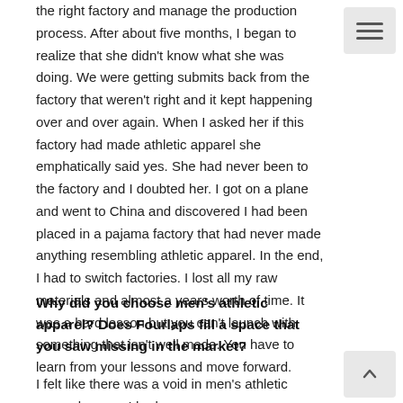the right factory and manage the production process. After about five months, I began to realize that she didn't know what she was doing. We were getting submits back from the factory that weren't right and it kept happening over and over again. When I asked her if this factory had made athletic apparel she emphatically said yes. She had never been to the factory and I doubted her. I got on a plane and went to China and discovered I had been placed in a pajama factory that had never made anything resembling athletic apparel. In the end, I had to switch factories. I lost all my raw materials and almost a years worth of time. It was a hard lesson but you can't launch with something that isn't well made. You have to learn from your lessons and move forward.
Why did you choose men's athletic apparel? Does Fourlaps fill a space that you saw missing in the market?
I felt like there was a void in men's athletic apparel space. I had a